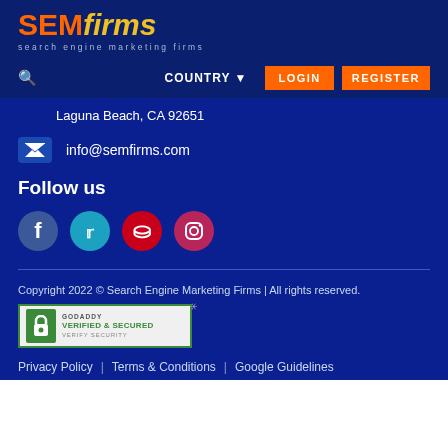[Figure (logo): SEMfirms logo with orange SEM text, yellow italic firms text, and subtitle 'search engine marketing firms' on dark navy background]
COUNTRY LOGIN REGISTER
Laguna Beach, CA 92651
info@semfirms.com
Follow us
[Figure (infographic): Social media icons: Facebook (blue circle), Twitter (teal circle), Pinterest (red circle), Instagram (pink-red circle)]
Copyright 2022 © Search Engine Marketing Firms | All rights reserved.
[Figure (logo): GoDaddy Verified & Secured badge with green lock icon and Verify Security text]
Privacy Policy  |  Terms & Conditions  |  Google Guidelines